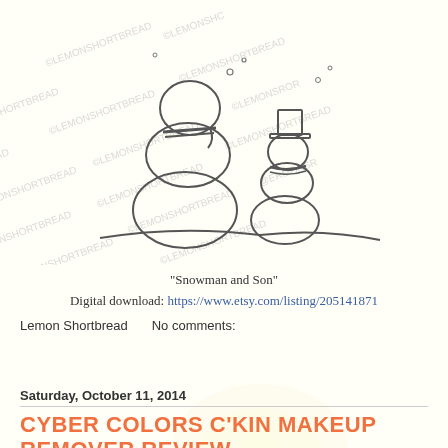[Figure (illustration): Line-art coloring page illustration of two snowmen (a larger parent and smaller child snowman) with watermark text 'LEMONSHORTBREAD' overlaid repeatedly across the image]
"Snowman and Son"
Digital download: https://www.etsy.com/listing/205141871
Lemon Shortbread    No comments:
Share
Saturday, October 11, 2014
CYBER COLORS C'KIN MAKEUP REMOVER REVIEW
I just purchased this makeup remover from Sasa, one of their inhouse brands: Cyber C'kin EX All-in-1 Moisturising